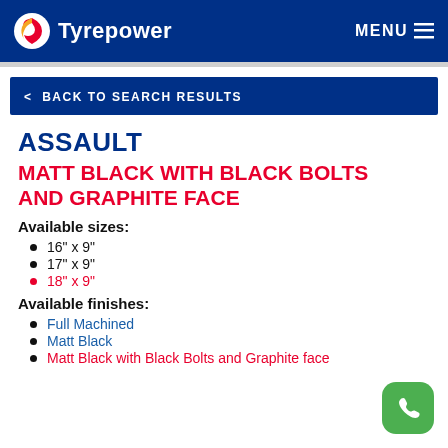Tyrepower | MENU
< BACK TO SEARCH RESULTS
ASSAULT
MATT BLACK WITH BLACK BOLTS AND GRAPHITE FACE
Available sizes:
16" x 9"
17" x 9"
18" x 9"
Available finishes:
Full Machined
Matt Black
Matt Black with Black Bolts and Graphite face